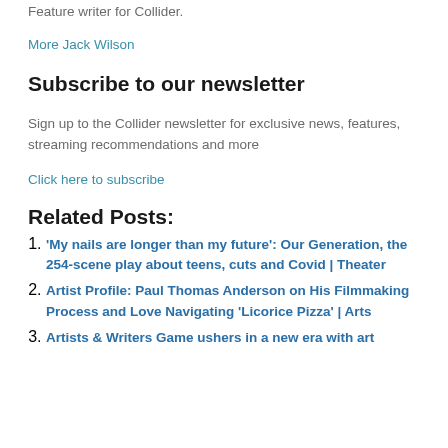Feature writer for Collider.
More Jack Wilson
Subscribe to our newsletter
Sign up to the Collider newsletter for exclusive news, features, streaming recommendations and more
Click here to subscribe
Related Posts:
'My nails are longer than my future': Our Generation, the 254-scene play about teens, cuts and Covid | Theater
Artist Profile: Paul Thomas Anderson on His Filmmaking Process and Love Navigating 'Licorice Pizza' | Arts
Artists & Writers Game ushers in a new era with art